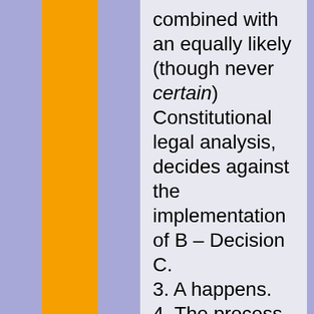combined with an equally likely (though never certain) Constitutional legal analysis, decides against the implementation of B – Decision C.
3. A happens.
4. The process by which C came about is leaked to the press.
5. The Opposition Party has their equally predictable and productive field day